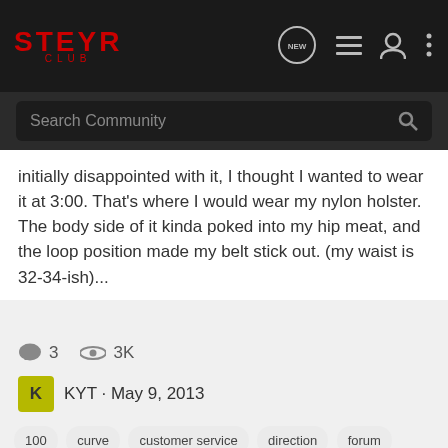STEYR CLUB — navigation header with search bar
initially disappointed with it, I thought I wanted to wear it at 3:00. That's where I would wear my nylon holster. The body side of it kinda poked into my hip meat, and the loop position made my belt stick out. (my waist is 32-34-ish)...
3   3K
KYT · May 9, 2013
100  curve  customer service  direction  forum  good  holster  holsters  kydex  make  making  member  nice  owner  pictures  piece  questions  review  slide  steyr  updates
new member Firetiger
New Member Check-In